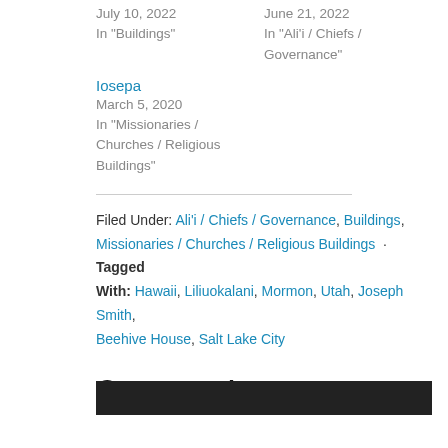July 10, 2022
In "Buildings"
June 21, 2022
In "Ali'i / Chiefs / Governance"
Iosepa
March 5, 2020
In "Missionaries / Churches / Religious Buildings"
Filed Under: Ali'i / Chiefs / Governance, Buildings, Missionaries / Churches / Religious Buildings · Tagged With: Hawaii, Liliuokalani, Mormon, Utah, Joseph Smith, Beehive House, Salt Lake City
Comments